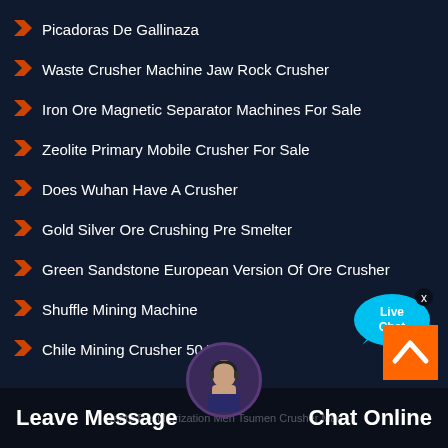Picadoras De Gallinaza
Waste Crusher Machine Jaw Rock Crusher
Iron Ore Magnetic Separator Machines For Sale
Zeolite Primary Mobile Crusher For Sale
Does Wuhan Have A Crusher
Gold Silver Ore Crushing Pre Smelter
Green Sandstone European Version Of Ore Crusher
Shuffle Mining Machine
Chile Mining Crusher 50 Tph
Barite Desulfurization Men Tsumen Crusher Machine
[Figure (illustration): Live Chat speech bubble icon in cyan/blue with 'Live Chat' text and X close button]
[Figure (illustration): Orange scroll-to-top button with white caret/chevron up arrow]
Leave Message   Chat Online